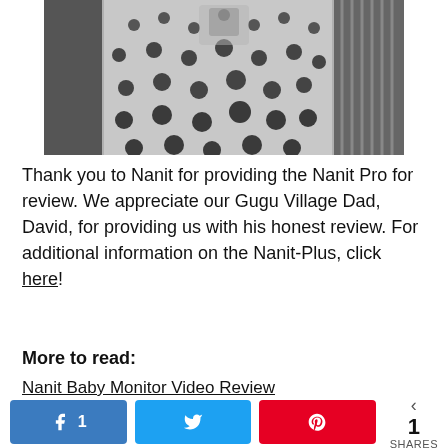[Figure (photo): Black and white photo of a baby monitor camera mounted on a crib with a polka-dot fabric bumper visible]
Thank you to Nanit for providing the Nanit Pro for review. We appreciate our Gugu Village Dad, David, for providing us with his honest review. For additional information on the Nanit-Plus, click here!
More to read:
Nanit Baby Monitor Video Review